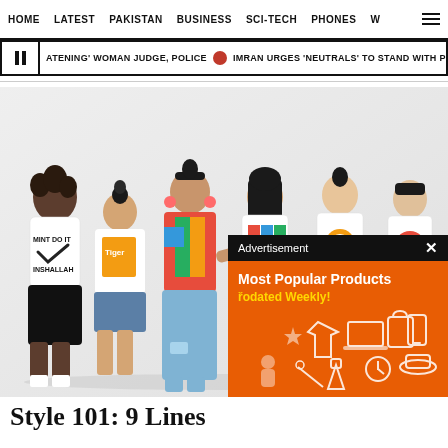HOME   LATEST   PAKISTAN   BUSINESS   SCI-TECH   PHONES   W
ATENING' WOMAN JUDGE, POLICE  ●  IMRAN URGES 'NEUTRALS' TO STAND WITH PEO
[Figure (photo): Group of young fashion models in graphic t-shirts posing against white background. Models wearing various branded and printed tees including Nike parody 'MINT DO IT INSHALLAH', Tiger brand tee, colorful printed shirt, and Pepsi-style shirt.]
Advertisement
Most Popular Products
Updated Weekly!
Style 101: 9 Lines